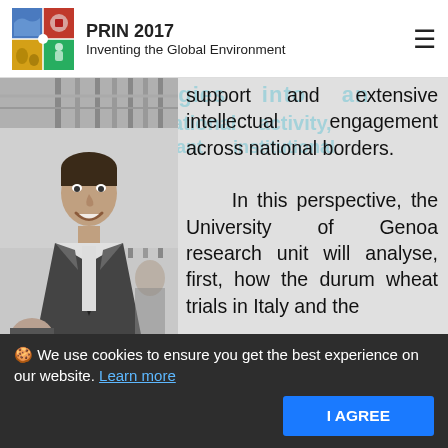PRIN 2017 Inventing the Global Environment
[Figure (photo): Black and white photograph of a smiling man in a suit and tie, standing in front of what appears to be a greenhouse or glass structure with vertical bars]
technologies into an international activity, significant institutional support and extensive intellectual engagement across national borders. In this perspective, the University of Genoa research unit will analyse, first, how the durum wheat trials in Italy and the Mediterr...
🍪 We use cookies to ensure you get the best experience on our website. Learn more
I AGREE